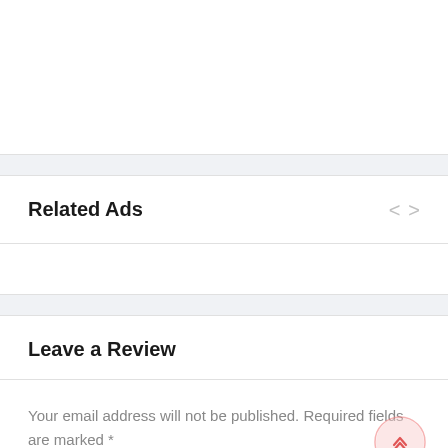Related Ads
Leave a Review
Your email address will not be published. Required fields are marked *